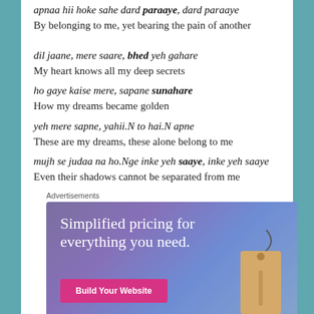apnaa hii hoke sahe dard paraaye, dard paraaye
By belonging to me, yet bearing the pain of another
dil jaane, mere saare, bhed yeh gahare
My heart knows all my deep secrets
ho gaye kaise mere, sapane sunahare
How my dreams became golden
yeh mere sapne, yahii.N to hai.N apne
These are my dreams, these alone belong to me
mujh se judaa na ho.Nge inke yeh saaye, inke yeh saaye
Even their shadows cannot be separated from me
Advertisements
[Figure (infographic): Advertisement banner with purple-blue gradient background, text 'Simplified pricing for everything you need.', a pink 'Build Your Website' button, and a decorative price tag illustration on the right.]